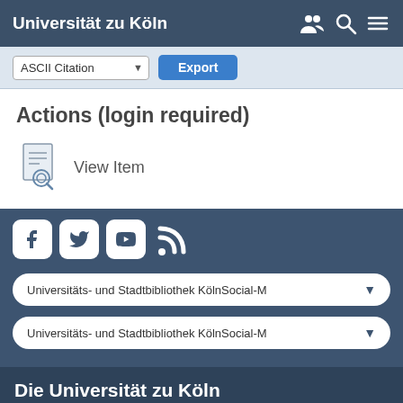Universität zu Köln
ASCII Citation  Export
Actions (login required)
View Item
[Figure (screenshot): Social media icon buttons: Facebook, Twitter, YouTube, RSS feed]
Universitäts- und Stadtbibliothek KölnSocial-M
Universitäts- und Stadtbibliothek KölnSocial-M
Die Universität zu Köln